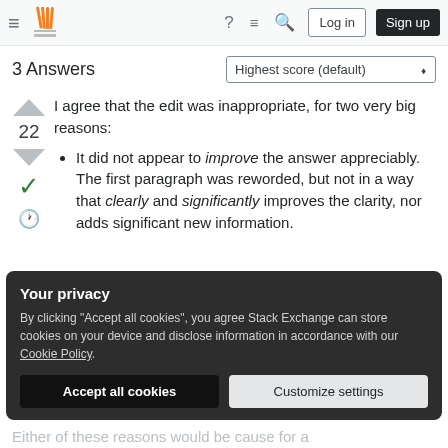Stack Exchange navigation bar with hamburger menu, logo, help, chat, search, Log in, Sign up
3 Answers
Highest score (default)
I agree that the edit was inappropriate, for two very big reasons:
It did not appear to improve the answer appreciably. The first paragraph was reworded, but not in a way that clearly and significantly improves the clarity, nor adds significant new information.
Your privacy
By clicking "Accept all cookies", you agree Stack Exchange can store cookies on your device and disclose information in accordance with our Cookie Policy.
Accept all cookies
Customize settings
Either of these reasons would be cause for a